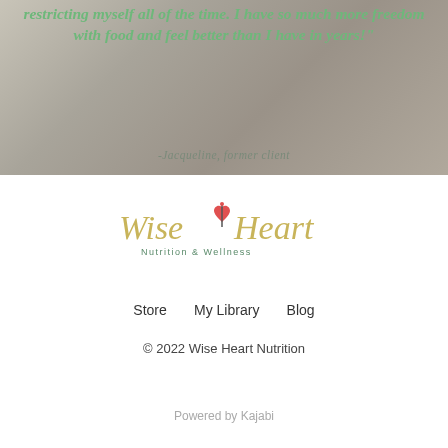restricting myself all of the time. I have so much more freedom with food and feel better than I have in years!"
-Jacqueline, former client
[Figure (logo): Wise Heart Nutrition & Wellness logo with script text and red heart accent]
Store    My Library    Blog
© 2022 Wise Heart Nutrition
Powered by Kajabi